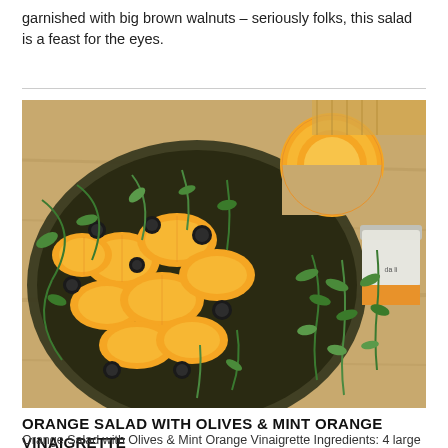garnished with big brown walnuts – seriously folks, this salad is a feast for the eyes.
[Figure (photo): A bowl of orange salad with black olives and arugula/mint leaves on a dark plate, surrounded by a halved orange, a jar with white contents, and fresh green herb sprigs on a wooden cutting board.]
ORANGE SALAD WITH OLIVES & MINT ORANGE VINAIGRETTE
Orange Salad with Olives & Mint Orange Vinaigrette Ingredients: 4 large